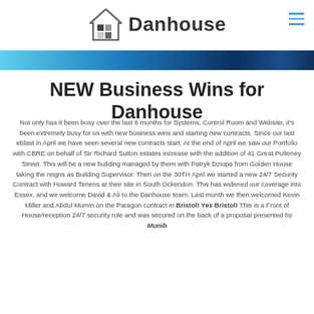Danhouse
NEW Business Wins for Danhouse
Not only has it been busy over the last 6 months for Systems, Control Room and Website, it's been extremely busy for us with new business wins and starting new contracts. Since our last eblast in April we have seen several new contracts start. At the end of April we saw our Portfolio with CBRE on behalf of Sir Richard Sutton estates increase with the addition of 41 Great Pulteney Street. This will be a new building managed by them with Patryk Dziopa from Golden House taking the reigns as Building Supervisor. Then on the 30TH April we started a new 24/7 Security Contract with Howard Tenens at their site in South Ockendon. This has widened our coverage into Essex, and we welcome David & Ali to the Danhouse team. Last month we then welcomed Kevin Miller and Abdul Mumin on the Paragon contract in Bristol! Yes Bristol! This is a Front of House/reception 24/7 security role and was secured on the back of a proposal presented by Munib